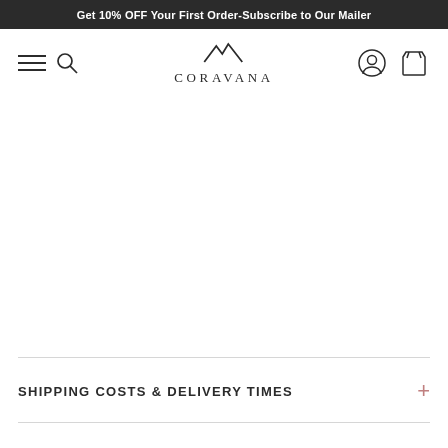Get 10% OFF Your First Order-Subscribe to Our Mailer
[Figure (logo): Coravana brand logo with stylized mountain/lightning bolt mark above the word CORAVANA]
SHIPPING COSTS & DELIVERY TIMES
DUTIES & TAXES